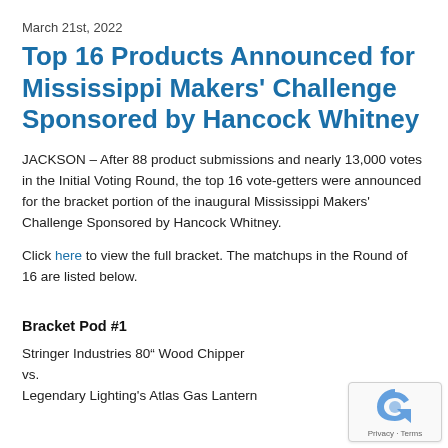March 21st, 2022
Top 16 Products Announced for Mississippi Makers' Challenge Sponsored by Hancock Whitney
JACKSON – After 88 product submissions and nearly 13,000 votes in the Initial Voting Round, the top 16 vote-getters were announced for the bracket portion of the inaugural Mississippi Makers' Challenge Sponsored by Hancock Whitney.
Click here to view the full bracket. The matchups in the Round of 16 are listed below.
Bracket Pod #1
Stringer Industries 80" Wood Chipper
vs.
Legendary Lighting's Atlas Gas Lantern